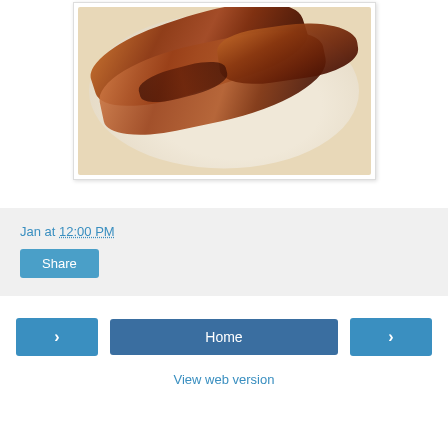[Figure (photo): Photo of grilled/barbecued meat ribs on a white plate, charred and glazed, displayed with a white border frame]
Jan at 12:00 PM
Share
Home
View web version